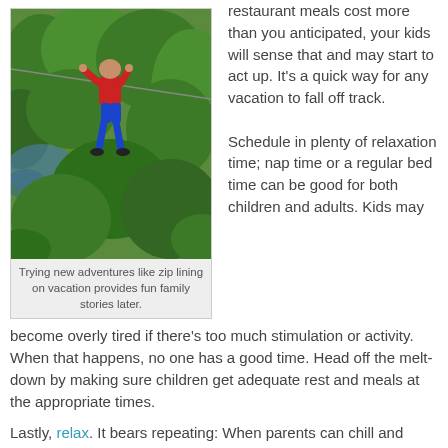[Figure (photo): Child zip-lining through green trees, wearing red shirt and blue harness, suspended in mid-air]
Trying new adventures like zip lining on vacation provides fun family stories later.
restaurant meals cost more than you anticipated, your kids will sense that and may start to act up. It’s a quick way for any vacation to fall off track.
Schedule in plenty of relaxation time; nap time or a regular bed time can be good for both children and adults. Kids may become overly tired if there’s too much stimulation or activity. When that happens, no one has a good time. Head off the melt-down by making sure children get adequate rest and meals at the appropriate times.
Lastly, relax. It bears repeating: When parents can chill and enjoy the vacation, anxiety levels drop for everyone and the whole family benefits.
Photos by Larry and Beverly Burmeier